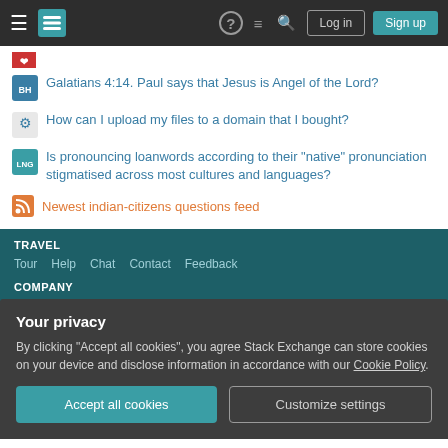Stack Exchange navigation bar with Log in and Sign up buttons
Galatians 4:14. Paul says that Jesus is Angel of the Lord?
How can I upload my files to a domain that I bought?
Is pronouncing loanwords according to their "native" pronunciation stigmatised across most cultures and languages?
Newest indian-citizens questions feed
TRAVEL
Tour  Help  Chat  Contact  Feedback
COMPANY
Your privacy
By clicking "Accept all cookies", you agree Stack Exchange can store cookies on your device and disclose information in accordance with our Cookie Policy.
Accept all cookies  Customize settings